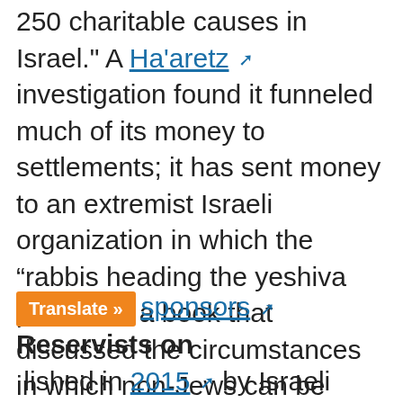250 charitable causes in Israel." A Ha'aretz investigation found it funneled much of its money to settlements; it has sent money to an extremist Israeli organization in which the "rabbis heading the yeshiva published a book that discussed the circumstances in which non-Jews can be killed." It has received "tens of millions of dollars" in donations. In 2015 its revenue was $20 million.
It also sponsors Reservists on Duty, established in 2015 by Israeli